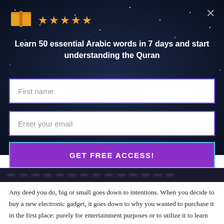[Figure (illustration): Orange/gold book icon with pages open, followed by five gold star rating icons, and an X close button in the top-right corner, on a dark starfield background]
Learn 50 essential Arabic words in 7 days and start understanding the Quran
First name
Enter your email
GET FREE ACCESS!
Any deed you do, big or small goes down to intentions. When you decide to buy a new electronic gadget, it goes down to why you wanted to purchase it in the first place: purely for entertainment purposes or to utilize it to learn more about this deen through resources available online?
When you donated money to your local mosque for